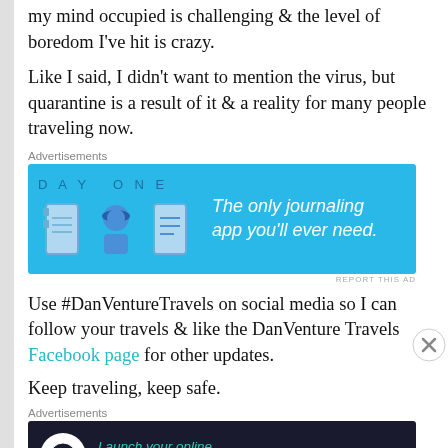my mind occupied is challenging & the level of boredom I've hit is crazy.
Like I said, I didn't want to mention the virus, but quarantine is a result of it & a reality for many people traveling now.
Advertisements
[Figure (infographic): Day One journaling app advertisement banner with blue background, app icons, and text 'The only journaling app you'll ever need.']
Use #DanVentureTravels on social media so I can follow your travels & like the DanVenture Travels Facebook page for other updates.
Keep traveling, keep safe.
Advertisements
[Figure (infographic): Dark advertisement banner: Launch your online course with WordPress. Learn More button.]